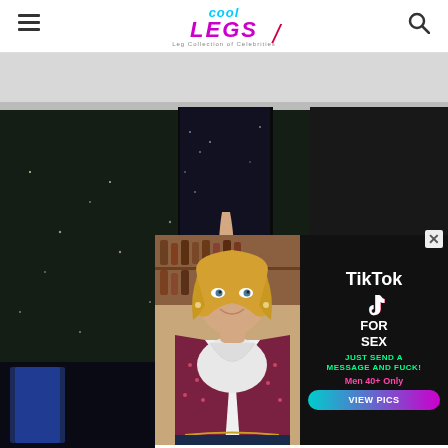Cool Legs — Leg Collection of Celebrities
[Figure (photo): Celebrity in black sequined dress showing legs on a sparkly dark floor, with another figure in boots on the right side]
[Figure (photo): Blonde woman in white top and burgundy blazer at a bar/restaurant]
[Figure (advertisement): TikTok For Sex advertisement — Just Send A Message And Fuck! Men 40+ Only — View Pics button]
[Figure (photo): Small thumbnail image bottom left, dark blue tones]